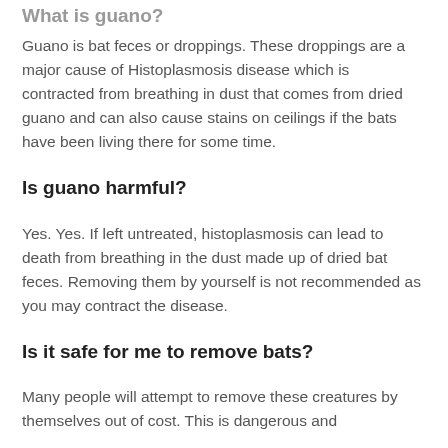What is guano?
Guano is bat feces or droppings. These droppings are a major cause of Histoplasmosis disease which is contracted from breathing in dust that comes from dried guano and can also cause stains on ceilings if the bats have been living there for some time.
Is guano harmful?
Yes. Yes. If left untreated, histoplasmosis can lead to death from breathing in the dust made up of dried bat feces. Removing them by yourself is not recommended as you may contract the disease.
Is it safe for me to remove bats?
Many people will attempt to remove these creatures by themselves out of cost. This is dangerous and